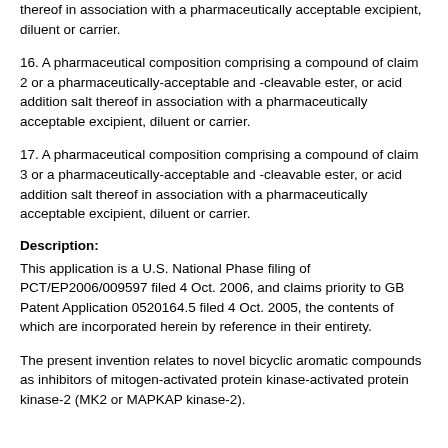thereof in association with a pharmaceutically acceptable excipient, diluent or carrier.
16. A pharmaceutical composition comprising a compound of claim 2 or a pharmaceutically-acceptable and -cleavable ester, or acid addition salt thereof in association with a pharmaceutically acceptable excipient, diluent or carrier.
17. A pharmaceutical composition comprising a compound of claim 3 or a pharmaceutically-acceptable and -cleavable ester, or acid addition salt thereof in association with a pharmaceutically acceptable excipient, diluent or carrier.
Description:
This application is a U.S. National Phase filing of PCT/EP2006/009597 filed 4 Oct. 2006, and claims priority to GB Patent Application 0520164.5 filed 4 Oct. 2005, the contents of which are incorporated herein by reference in their entirety.
The present invention relates to novel bicyclic aromatic compounds as inhibitors of mitogen-activated protein kinase-activated protein kinase-2 (MK2 or MAPKAP kinase-2).